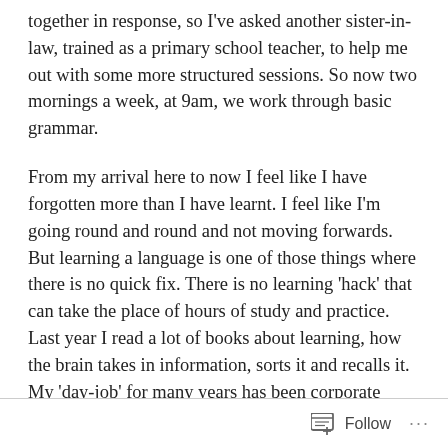together in response, so I've asked another sister-in-law, trained as a primary school teacher, to help me out with some more structured sessions. So now two mornings a week, at 9am, we work through basic grammar.
From my arrival here to now I feel like I have forgotten more than I have learnt. I feel like I'm going round and round and not moving forwards. But learning a language is one of those things where there is no quick fix. There is no learning 'hack' that can take the place of hours of study and practice. Last year I read a lot of books about learning, how the brain takes in information, sorts it and recalls it. My 'day-job' for many years has been corporate learning & development. Knowing how learning works does not necessarily make learning easier.
Follow ...